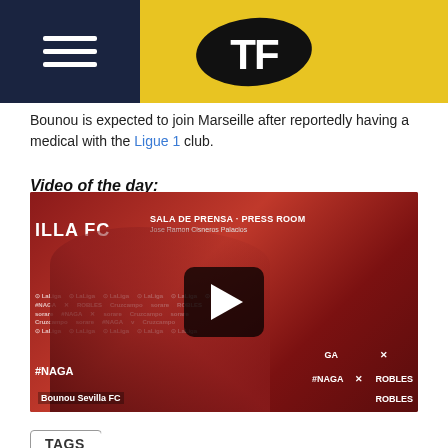TF (Transfer Focus) website header with hamburger menu and logo
Bounou is expected to join Marseille after reportedly having a medical with the Ligue 1 club.
Video of the day:
[Figure (screenshot): Video thumbnail showing Bounou at Sevilla FC press room (SALA DE PRENSA - PRESS ROOM, Jose Ramon Cisneros Palacios) with sponsors including LaLiga, NAGA, sorare, Crucampo, ROBLES visible. Play button overlay in center. Caption reads 'Bounou Sevilla FC'.]
TAGS